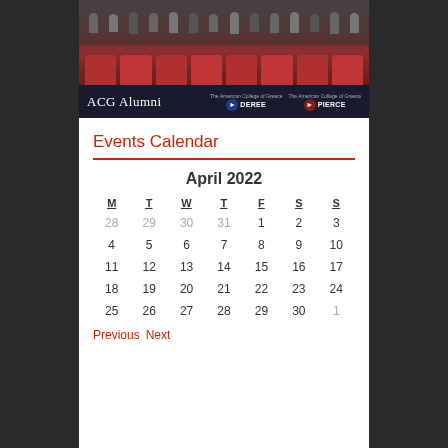[Figure (photo): Group photo of students/alumni in an auditorium with red seats, with ACG Alumni banner showing Deree and Pierce logos]
Events Calendar
| M | T | W | T | F | S | S |
| --- | --- | --- | --- | --- | --- | --- |
| 28 | 29 | 30 | 31 | 1 | 2 | 3 |
| 4 | 5 | 6 | 7 | 8 | 9 | 10 |
| 11 | 12 | 13 | 14 | 15 | 16 | 17 |
| 18 | 19 | 20 | 21 | 22 | 23 | 24 |
| 25 | 26 | 27 | 28 | 29 | 30 | 1 |
Previous  Next